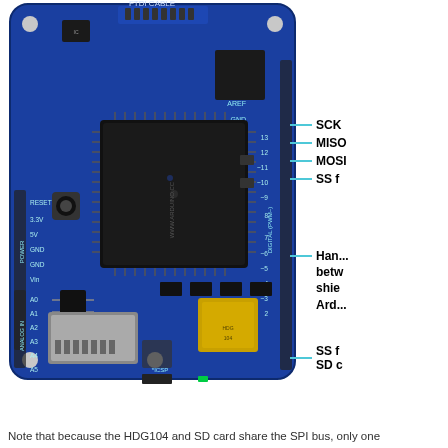[Figure (photo): Arduino Ethernet Shield board (blue PCB) with SD card slot, large ATmega microcontroller, FTDI cable header at top, and pin headers along the right and left edges. Labels visible on board: FTDI CABLE, SCL, SDA, AREF, GND, 13, 12, ~11, ~10, ~9, 8, 7, ~6, ~5, 4, ~3, 2, TX 1, RX 0, RESET, 3.3V, 5V, GND, GND, Vin, POWER, A0-A5, ANALOG IN, DIGITAL (PWM~), ICSP, WWW.ARDUINO.CC]
SCK
MISO
MOSI
SS for W5100
Hardware SS between shield and Arduino
SS for SD card
Note that because the HDG104 and SD card share the SPI bus, only one